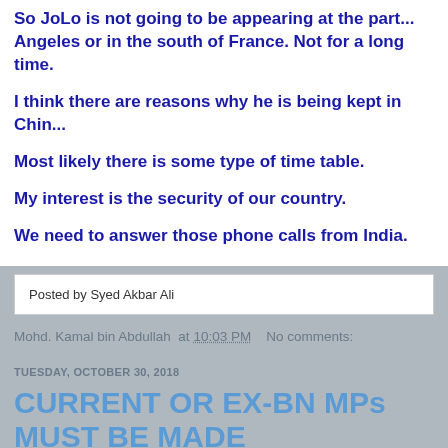So JoLo is not going to be appearing at the part... Angeles or in the south of France. Not for a long time.

I think there are reasons why he is being kept in Chin...

Most likely there is some type of time table.

My interest is the security of our country.

We need to answer those phone calls from India.
Posted by Syed Akbar Ali
Mohd. Kamal bin Abdullah at 10:03 PM   No comments:
TUESDAY, OCTOBER 30, 2018
CURRENT OR EX-BN MPs MUST BE MADE ACCOUNTABLE